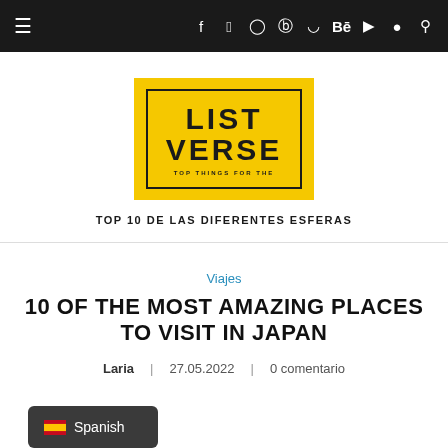≡ f t ⊙ ℗ ⊡ Be ▶ ◉ 🔍
[Figure (logo): Listverse logo: yellow background with black border rectangle, bold text LIST VERSE, tagline TOP THINGS FOR THE]
TOP 10 DE LAS DIFERENTES ESFERAS
Viajes
10 OF THE MOST AMAZING PLACES TO VISIT IN JAPAN
Laria | 27.05.2022 | 0 comentario
Spanish